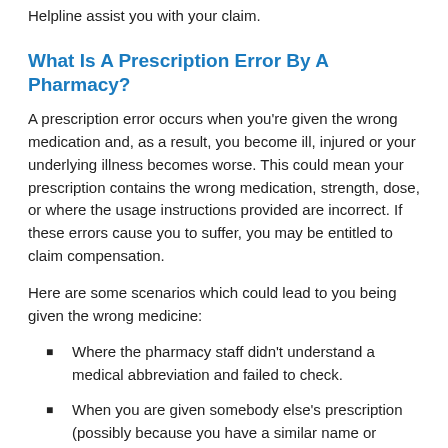Helpline assist you with your claim.
What Is A Prescription Error By A Pharmacy?
A prescription error occurs when you're given the wrong medication and, as a result, you become ill, injured or your underlying illness becomes worse. This could mean your prescription contains the wrong medication, strength, dose, or where the usage instructions provided are incorrect. If these errors cause you to suffer, you may be entitled to claim compensation.
Here are some scenarios which could lead to you being given the wrong medicine:
Where the pharmacy staff didn't understand a medical abbreviation and failed to check.
When you are given somebody else's prescription (possibly because you have a similar name or